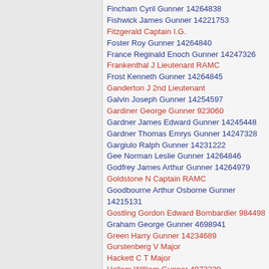Fincham Cyril Gunner 14264838
Fishwick James Gunner 14221753
Fitzgerald Captain I.G.
Foster Roy Gunner 14264840
France Reginald Enoch Gunner 14247326
Frankenthal J Lieutenant RAMC
Frost Kenneth Gunner 14264845
Ganderton J 2nd Lieutenant
Galvin Joseph Gunner 14254597
Gardiner George Gunner 923060
Gardner James Edward Gunner 14245448
Gardner Thomas Emrys Gunner 14247328
Gargiulo Ralph Gunner 14231222
Gee Norman Leslie Gunner 14264846
Godfrey James Arthur Gunner 14264979
Goldstone N Captain RAMC
Goodbourne Arthur Osborne Gunner 14215131
Gostling Gordon Edward Bombardier 984498
Graham George Gunner 4698941
Green Harry Gunner 14234689
Gurstenberg V Major
Hackett C T Major
Hallam William Gunner 4973230